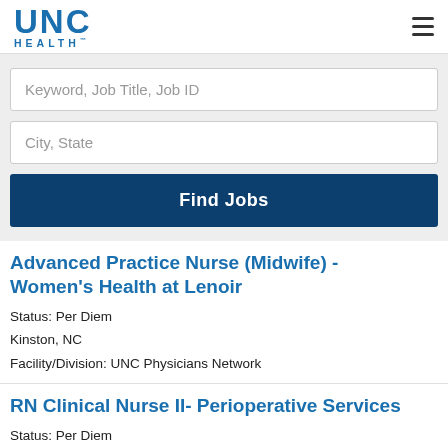[Figure (logo): UNC Health logo with blue UNC text and HEALTH below]
Keyword, Job Title, Job ID
City, State
Find Jobs
Advanced Practice Nurse (Midwife) - Women's Health at Lenoir
Status: Per Diem
Kinston, NC
Facility/Division: UNC Physicians Network
RN Clinical Nurse II- Perioperative Services
Status: Per Diem